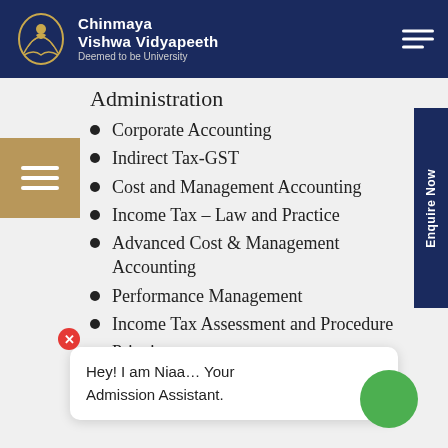Chinmaya Vishwa Vidyapeeth — Deemed to be University
Administration
Corporate Accounting
Indirect Tax-GST
Cost and Management Accounting
Income Tax – Law and Practice
Advanced Cost & Management Accounting
Performance Management
Income Tax Assessment and Procedure
Principles of Management (partial)
Auditing (partial)
Financial reporting (partial)
Hey! I am Niaa… Your Admission Assistant.